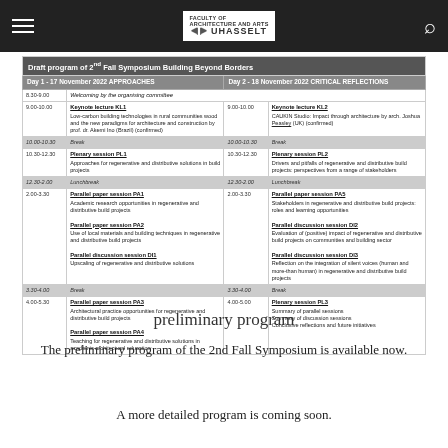UHasselt – Faculty of Architecture and Arts
| Draft program of 2nd Fall Symposium Building Beyond Borders |
| --- |
| Day 1 - 17 November 2022 APPROACHES |  | Day 2 - 18 November 2022 CRITICAL REFLECTIONS |  |
| 8.30-9.00 | Welcoming by the organising committee |  |  |
| 9.00-10.00 | Keynote lecture KL1
Low-carbon building technologies in rural communities wood and the new paradigms for architecture and construction by prof. dr. Akemi Ino (Brazil) (confirmed) | 9.00-10.00 | Keynote lecture KL2
CAUKIN Studio: Impact through architecture by arch. Joshua Peasley (UK) (confirmed) |
| 10.00-10.30 | Break | 10.00-10.30 | Break |
| 10.30-12.30 | Plenary session PL1
Approaches for regenerative and distributive solutions in build projects | 10.30-12.30 | Plenary session PL2
Drivers and pitfalls of regenerative and distributive build projects: perspectives from a range of stakeholders |
| 12.30-2.00 | Lunchbreak | 12.30-2.00 | Lunchbreak |
| 2.00-3.30 | Parallel paper session PA1
Academic research opportunities in regenerative and distributive build projects

Parallel paper session PA2
Use of local materials and building techniques in regenerative and distributive build projects

Parallel discussion session DI1
Upscaling of regenerative and distributive solutions | 2.00-3.30 | Parallel paper session PA5
Stakeholders in regenerative and distributive build projects: roles and learning opportunities

Parallel discussion session DI2
Evaluation of (positive) impact of regenerative and distributive build projects on communities and building sector

Parallel discussion session DI3
Reflection on the integration of silent voices (human and more-than human) in regenerative and distributive build projects |
| 3.30-4.00 | Break | 3.30-4.00 | Break |
| 4.00-5.30 | Parallel paper session PA3
Architectural practice opportunities for regenerative and distributive build projects

Parallel paper session PA4
Teaching for regenerative and distributive solutions in academic architectural education | 4.00-5.00 | Plenary session PL3
Summary of parallel sessions
Summary of discussion sessions
Conclusive reflections and future initiatives |
preliminary program
The preliminary program of the 2nd Fall Symposium is available now.
A more detailed program is coming soon.